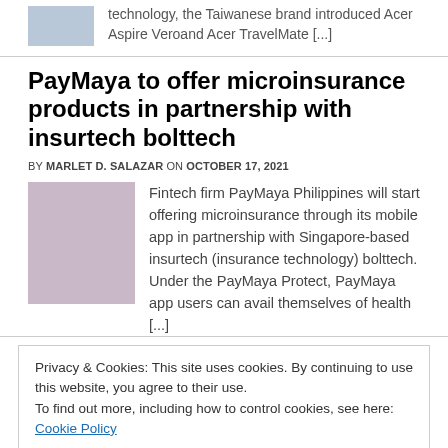technology, the Taiwanese brand introduced Acer Aspire Veroand Acer TravelMate [...]
PayMaya to offer microinsurance products in partnership with insurtech bolttech
BY MARLET D. SALAZAR ON OCTOBER 17, 2021
[Figure (photo): Hand holding a smartphone displaying charts, with a coffee cup nearby]
Fintech firm PayMaya Philippines will start offering microinsurance through its mobile app in partnership with Singapore-based insurtech (insurance technology) bolttech. Under the PayMaya Protect, PayMaya app users can avail themselves of health [...]
Privacy & Cookies: This site uses cookies. By continuing to use this website, you agree to their use.
To find out more, including how to control cookies, see here: Cookie Policy
Close and accept
banking Trojan attacks in the Asia Pacific (APAC